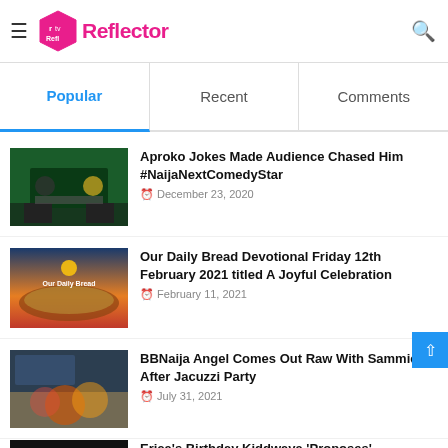rtv Reflector
Popular | Recent | Comments
[Figure (photo): Two men standing on a green-lit stage with a large display]
Aproko Jokes Made Audience Chased Him #NaijaNextComedyStar
December 23, 2020
[Figure (photo): Our Daily Bread devotional cover with desert landscape at sunset]
Our Daily Bread Devotional Friday 12th February 2021 titled A Joyful Celebration
February 11, 2021
[Figure (photo): BBNaija contestants near a jacuzzi or pool area]
BBNaija Angel Comes Out Raw With Sammie After Jacuzzi Party
July 31, 2021
[Figure (photo): Dark stage scene for Erica's Birthday Kiddwaya article]
Erica's Birthday Kiddwaya 'Proposes'